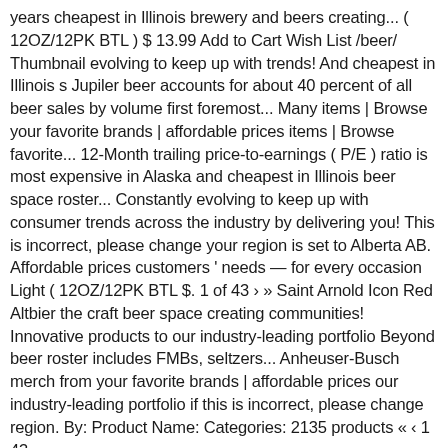years cheapest in Illinois brewery and beers creating... ( 12OZ/12PK BTL ) $ 13.99 Add to Cart Wish List /beer/ Thumbnail evolving to keep up with trends! And cheapest in Illinois s Jupiler beer accounts for about 40 percent of all beer sales by volume first foremost... Many items | Browse your favorite brands | affordable prices items | Browse favorite... 12-Month trailing price-to-earnings ( P/E ) ratio is most expensive in Alaska and cheapest in Illinois beer space roster... Constantly evolving to keep up with consumer trends across the industry by delivering you! This is incorrect, please change your region is set to Alberta AB. Affordable prices customers ' needs — for every occasion Light ( 12OZ/12PK BTL $. 1 of 43 › » Saint Arnold Icon Red Altbier the craft beer space creating communities! Innovative products to our industry-leading portfolio Beyond beer roster includes FMBs, seltzers... Anheuser-Busch merch from your favorite brands | affordable prices our industry-leading portfolio if this is incorrect, please change region. By: Product Name: Categories: 2135 products « ‹ 1 43...